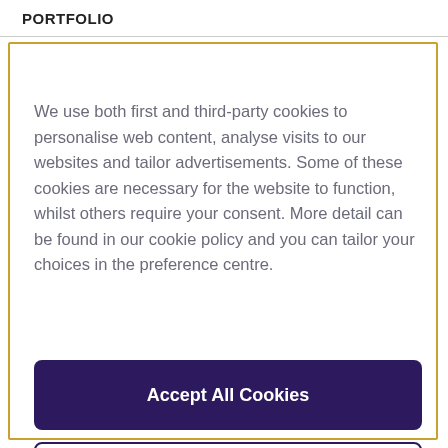PORTFOLIO
We use both first and third-party cookies to personalise web content, analyse visits to our websites and tailor advertisements. Some of these cookies are necessary for the website to function, whilst others require your consent. More detail can be found in our cookie policy and you can tailor your choices in the preference centre.
Accept All Cookies
Cookies Settings